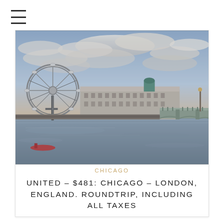≡
[Figure (photo): Photo of London skyline along the Thames River, featuring the London Eye ferris wheel on the left, historic buildings including County Hall in the center, and Westminster Bridge on the right, under a dramatic cloudy sky with dusk lighting.]
CHICAGO
UNITED – $481: CHICAGO – LONDON, ENGLAND. ROUNDTRIP, INCLUDING ALL TAXES